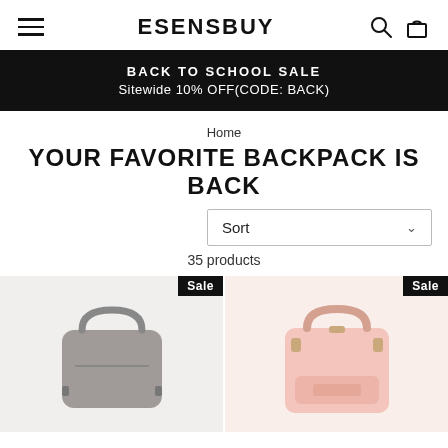ESENSBUY
BACK TO SCHOOL SALE
Sitewide 10% OFF(CODE: BACK)
Home
YOUR FAVORITE BACKPACK IS BACK
Sort
35 products
[Figure (photo): Gray small backpack/bag on light gray background with Sale badge]
[Figure (photo): Pink backpack with gold hardware on light pink background with Sale badge]